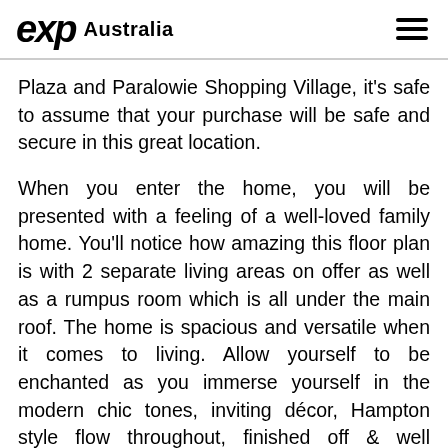eXp Australia
Plaza and Paralowie Shopping Village, it's safe to assume that your purchase will be safe and secure in this great location.
When you enter the home, you will be presented with a feeling of a well-loved family home. You'll notice how amazing this floor plan is with 2 separate living areas on offer as well as a rumpus room which is all under the main roof. The home is spacious and versatile when it comes to living. Allow yourself to be enchanted as you immerse yourself in the modern chic tones, inviting décor, Hampton style flow throughout, finished off & well complimented by the highest quality fixtures &